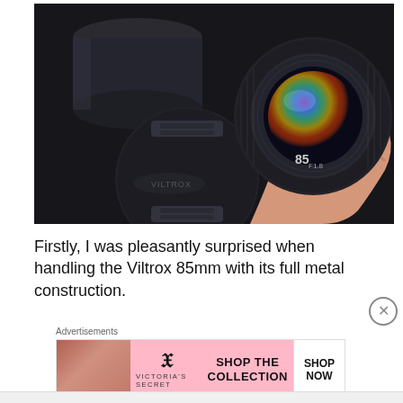[Figure (photo): A hand holding a Viltrox 85mm f/1.8 camera lens against a dark background. The lens cap and body cap are visible to the left. The lens front element shows colorful reflections.]
Firstly, I was pleasantly surprised when handling the Viltrox 85mm with its full metal construction.
[Figure (screenshot): Victoria's Secret advertisement banner. Shows a model on the left, Victoria's Secret logo in the center, 'SHOP THE COLLECTION' text, and a 'SHOP NOW' button on the right.]